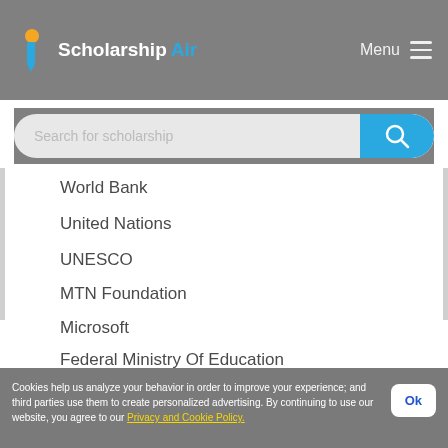ScholarshipAir — Menu
[Figure (screenshot): Search bar with placeholder 'Search for scholarship' and blue search button with magnifying glass icon]
World Bank
United Nations
UNESCO
MTN Foundation
Microsoft
Federal Ministry Of Education
The World Academy of Sciences (TWAS)
view all Institutions
Cookies help us analyze your behavior in order to improve your experience; and third parties use them to create personalized advertising. By continuing to use our website, you agree to our Privacy and Cookie Policy.